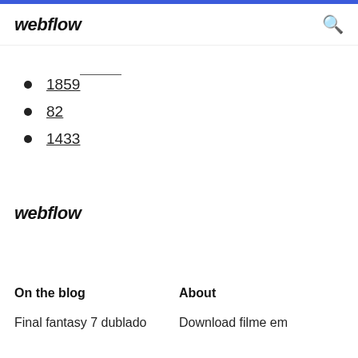webflow
1859
82
1433
webflow
On the blog
About
Final fantasy 7 dublado
Download filme em